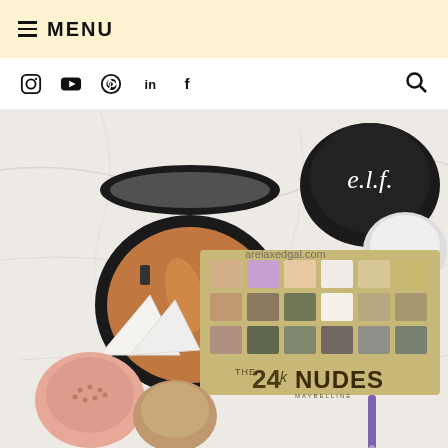≡ MENU
[Figure (other): Navigation bar with social media icons: Instagram, YouTube, Pinterest, LinkedIn, Facebook, and a search icon]
[Figure (photo): Flat lay photo of makeup products on a white marble surface. Products include: an open compact powder foundation, an e.l.f. setting powder jar, a Maybelline The 24K Nudes eyeshadow palette, a pink blush powder container, a cream product jar, a white makeup sponge, and a purple makeup brush. Website watermark reads arelaxedgal.com]